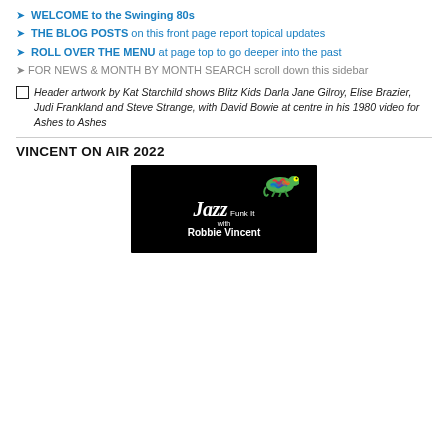➤ WELCOME to the Swinging 80s
➤ THE BLOG POSTS on this front page report topical updates
➤ ROLL OVER THE MENU at page top to go deeper into the past
➤ FOR NEWS & MONTH BY MONTH SEARCH scroll down this sidebar
Header artwork by Kat Starchild shows Blitz Kids Darla Jane Gilroy, Elise Brazier, Judi Frankland and Steve Strange, with David Bowie at centre in his 1980 video for Ashes to Ashes
VINCENT ON AIR 2022
[Figure (logo): Jazz Funk It with Robbie Vincent logo: white italic bold text on black background with a colorful chameleon graphic on top]